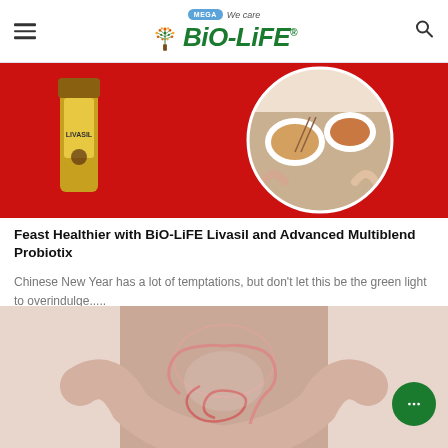MEGA We care BiO-LiFE
[Figure (photo): Product image on red background showing BiO-LiFE Livasil bottle and a circular inset of people dining together with food on a table]
Feast Healthier with BiO-LiFE Livasil and Advanced Multiblend Probiotix
Chinese New Year has a lot of temptations, but don't let this be the green light to overindulge.....
[Figure (photo): Person holding their abdomen area showing digestive system illustration overlay with intestines highlighted in pink/red]